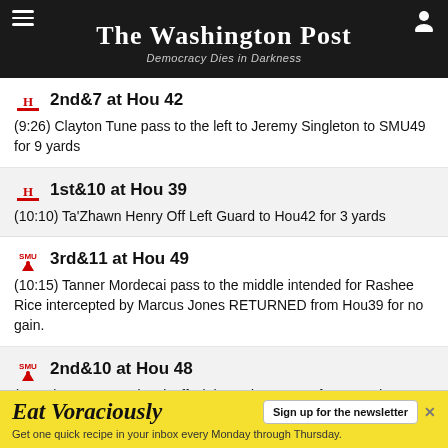The Washington Post
Democracy Dies in Darkness
2nd&7 at Hou 42
(9:26) Clayton Tune pass to the left to Jeremy Singleton to SMU49 for 9 yards
1st&10 at Hou 39
(10:10) Ta'Zhawn Henry Off Left Guard to Hou42 for 3 yards
3rd&11 at Hou 49
(10:15) Tanner Mordecai pass to the middle intended for Rashee Rice intercepted by Marcus Jones RETURNED from Hou39 for no gain.
2nd&10 at Hou 48
(10:51) Tanner Mordecai Off Right End to Hou49 for -1 yards
1st&10 at Hou 48
(10:58) Tanner Mordecai incomplete pass to the right intended for Danny Gray
4th&17 at SMU 31
(11:15) Tanner Mordecai pass to the right to Danny Gray to Hou48 for 21
[Figure (screenshot): Eat Voraciously newsletter advertisement banner]